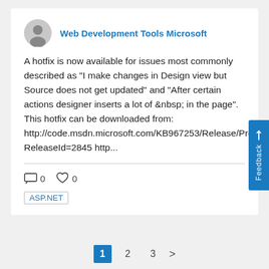[Figure (other): Avatar icon of a generic user/person silhouette in gray]
Web Development Tools Microsoft
A hotfix is now available for issues most commonly described as "I make changes in Design view but Source does not get updated" and "After certain actions designer inserts a lot of &nbsp; in the page". This hotfix can be downloaded from: http://code.msdn.microsoft.com/KB967253/Release/ProjectReleases.aspx?ReleaseId=2845 http...
0  0
ASP.NET
1  2  3  >